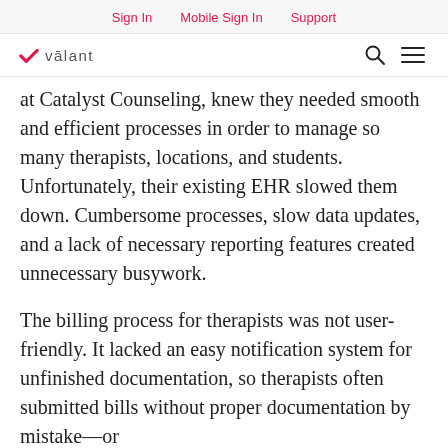Sign In   Mobile Sign In   Support
valant
at Catalyst Counseling, knew they needed smooth and efficient processes in order to manage so many therapists, locations, and students. Unfortunately, their existing EHR slowed them down. Cumbersome processes, slow data updates, and a lack of necessary reporting features created unnecessary busywork.
The billing process for therapists was not user-friendly. It lacked an easy notification system for unfinished documentation, so therapists often submitted bills without proper documentation by mistake—or